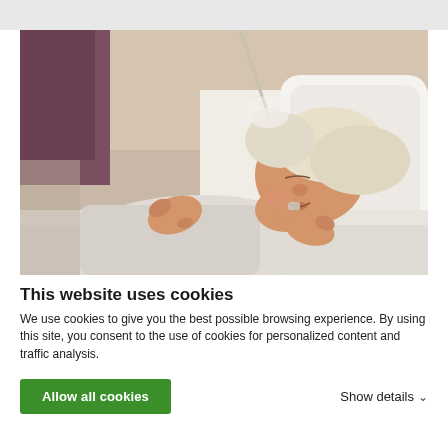[Figure (photo): Elderly woman with blonde/white hair lying in a hospital or bedroom bed, eyes closed, mouth slightly open, resting on white pillows. Blurred background with warm beige and mauve tones.]
This website uses cookies
We use cookies to give you the best possible browsing experience. By using this site, you consent to the use of cookies for personalized content and traffic analysis.
Allow all cookies
Show details